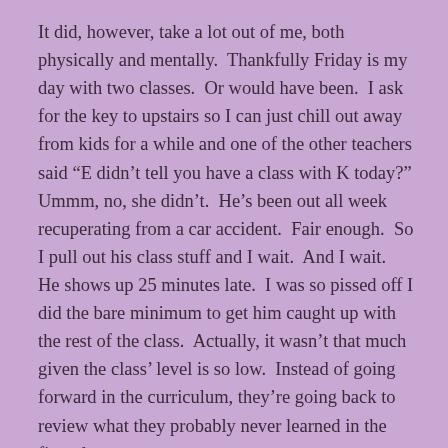It did, however, take a lot out of me, both physically and mentally. Thankfully Friday is my day with two classes. Or would have been. I ask for the key to upstairs so I can just chill out away from kids for a while and one of the other teachers said “E didn’t tell you have a class with K today?” Ummm, no, she didn’t. He’s been out all week recuperating from a car accident. Fair enough. So I pull out his class stuff and I wait. And I wait. He shows up 25 minutes late. I was so pissed off I did the bare minimum to get him caught up with the rest of the class. Actually, it wasn’t that much given the class’ level is so low. Instead of going forward in the curriculum, they’re going back to review what they probably never learned in the first place.